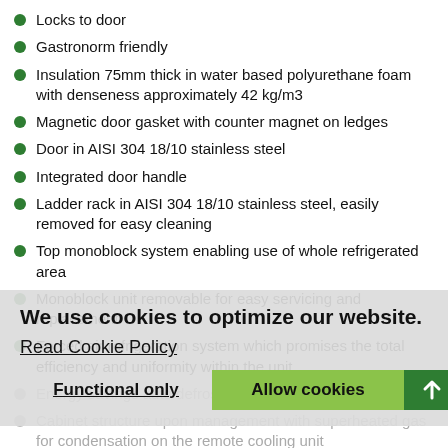Locks to door
Gastronorm friendly
Insulation 75mm thick in water based polyurethane foam with denseness approximately 42 kg/m3
Magnetic door gasket with counter magnet on ledges
Door in AISI 304 18/10 stainless steel
Integrated door handle
Ladder rack in AISI 304 18/10 stainless steel, easily removed for easy cleaning
Top monoblock system enabling use of whole refrigerated area
Monoblock unit removable for easy servicing and replacement
Forced air refrigeration system which promises the total efficiency and uniformity within the unit
Energy savings auto defrost cycle
Cabinet structure upon management with superheated gas for condensation on the remote cooling unit
Defrost water evaporation by means of thermostatic heater
Able to adjust the humidity inside the cabinet from a minimum to
Controller equipped with cabinet probe, evaporator probe and
We use cookies to optimize our website.
Read Cookie Policy
Functional only    Allow cookies